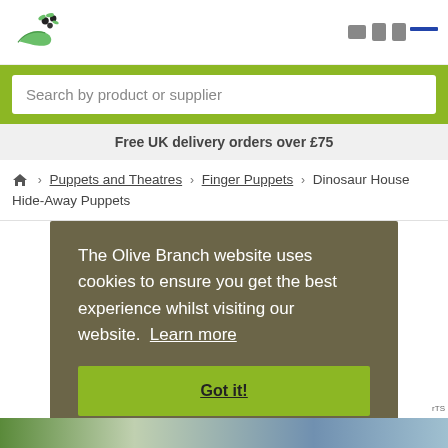[Figure (logo): Olive Branch logo with green hand holding olives and leaves]
Search by product or supplier
Free UK delivery orders over £75
🏠 › Puppets and Theatres › Finger Puppets › Dinosaur House Hide-Away Puppets
The Olive Branch website uses cookies to ensure you get the best experience whilst visiting our website. Learn more
Got it!